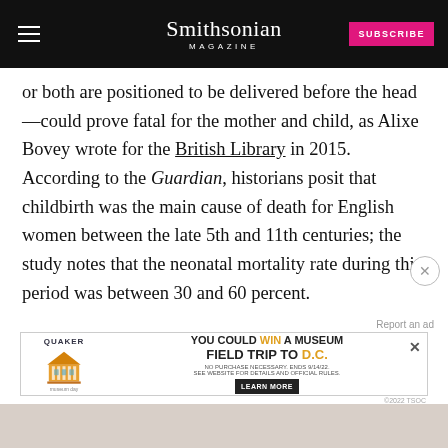Smithsonian Magazine — SUBSCRIBE
or both are positioned to be delivered before the head—could prove fatal for the mother and child, as Alixe Bovey wrote for the British Library in 2015. According to the Guardian, historians posit that childbirth was the main cause of death for English women between the late 5th and 11th centuries; the study notes that the neonatal mortality rate during this period was between 30 and 60 percent.
[Figure (infographic): Quaker advertisement: YOU COULD WIN A MUSEUM FIELD TRIP TO D.C. LEARN MORE]
[Figure (photo): Partial image of a historical illustration or artifact visible at the bottom of the page]